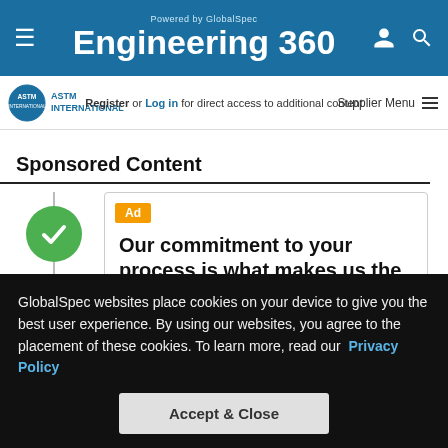Engineering 360 - Powered by GlobalSpec
[Figure (logo): ASTM International logo with blue circle emblem]
Register or Log in for direct access to additional content
Supplier Menu
Sponsored Content
[Figure (illustration): Green checkmark circle on a vertical timeline line]
Ad
Our commitment to your process is what makes us the right choice for you!
Paratherm – Heat Transfer Fluids has been in business for over 30 years. The
GlobalSpec websites place cookies on your device to give you the best user experience. By using our websites, you agree to the placement of these cookies. To learn more, read our  Privacy Policy
Accept & Close